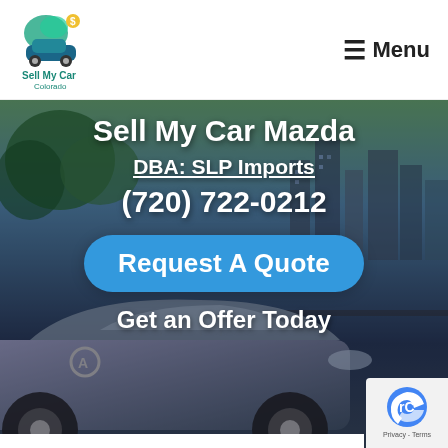Sell My Car Colorado — Menu
Sell My Car Mazda
DBA: SLP Imports
(720) 722-0212
Request A Quote
Get an Offer Today
[Figure (screenshot): Website screenshot showing Sell My Car Colorado header logo and hamburger menu, with a hero banner of a car against a city skyline background, featuring the business name Sell My Car Mazda, DBA: SLP Imports, phone number, and a blue Request A Quote button]